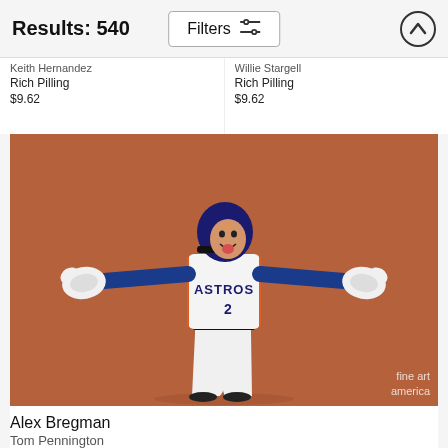Results: 540
Filters
Keith Hernandez
Rich Pilling
$9.62
Willie Stargell
Rich Pilling
$9.62
[Figure (photo): Alex Bregman #2 of Houston Astros in white uniform with arms spread wide, celebrating on a reddish-brown dirt field, wearing batting gloves and helmet. Fine Art America watermark visible.]
Alex Bregman
Tom Pennington